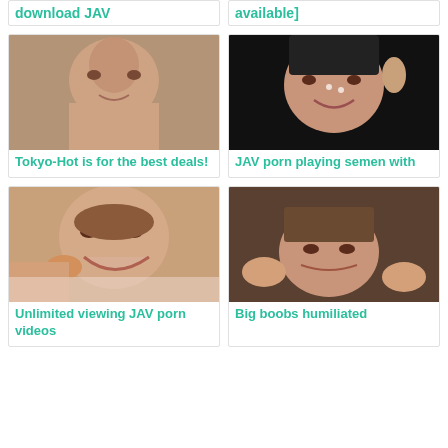download JAV
available]
[Figure (photo): Close-up photo of Asian woman]
Tokyo-Hot is for the best deals!
[Figure (photo): Close-up photo of Asian woman with black hair on dark background]
JAV porn playing semen with
[Figure (photo): Close-up photo of Asian woman with mouth open]
Unlimited viewing JAV porn videos
[Figure (photo): Photo of Asian woman looking at camera]
Big boobs humiliated